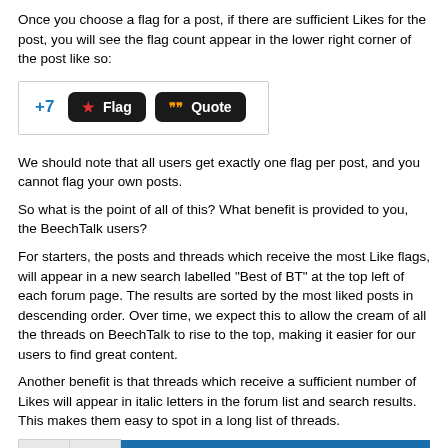Once you choose a flag for a post, if there are sufficient Likes for the post, you will see the flag count appear in the lower right corner of the post like so:
[Figure (screenshot): Screenshot of forum post action bar showing '+7' count in blue and two dark buttons: 'Flag' with red star icon and 'Quote' with orange quote icon]
We should note that all users get exactly one flag per post, and you cannot flag your own posts.
So what is the point of all of this? What benefit is provided to you, the BeechTalk users?
For starters, the posts and threads which receive the most Like flags, will appear in a new search labelled "Best of BT" at the top left of each forum page. The results are sorted by the most liked posts in descending order. Over time, we expect this to allow the cream of all the threads on BeechTalk to rise to the top, making it easier for our users to find great content.
Another benefit is that threads which receive a sufficient number of Likes will appear in italic letters in the forum list and search results. This makes them easy to spot in a long list of threads.
[Figure (screenshot): Forum table with blue header row showing 'Topics' column, and one data row with an X icon, a red post icon, and an italic blue link 'This thread is awesome!' with 'in Plane Talk ™' below it]